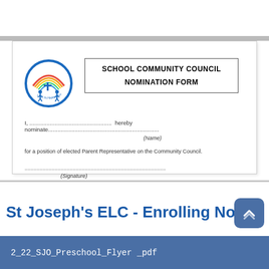[Figure (logo): School logo with rainbow arc and children figures in a circle with blue border]
SCHOOL COMMUNITY COUNCIL
NOMINATION FORM
I, .................................................... hereby nominate......................................................................
(Name)
for a position of elected Parent Representative on the Community Council.
..............................................................................................
(Signature)
St Joseph's ELC - Enrolling Now
2_22_SJO_Preschool_Flyer _pdf